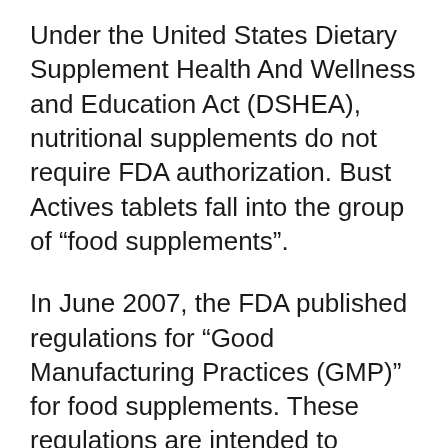Under the United States Dietary Supplement Health And Wellness and Education Act (DSHEA), nutritional supplements do not require FDA authorization. Bust Actives tablets fall into the group of “food supplements”.
In June 2007, the FDA published regulations for “Good Manufacturing Practices (GMP)” for food supplements. These regulations are intended to guarantee the pureness, quality, strength and composition of these supplements.
The production of Bust Actives is carried out in a plant that is fully certified with FDA GMP.
Are there any constraints on its usage?